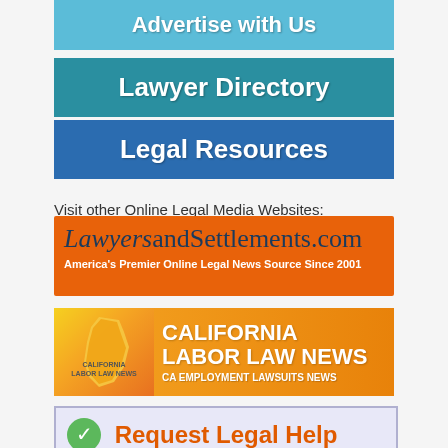[Figure (screenshot): Light blue button: 'Advertise with Us']
[Figure (screenshot): Teal button: 'Lawyer Directory']
[Figure (screenshot): Blue button: 'Legal Resources']
Visit other Online Legal Media Websites:
[Figure (logo): LawyersandSettlements.com banner - America's Premier Online Legal News Source Since 2001]
[Figure (logo): California Labor Law News banner - CA Employment Lawsuits News]
[Figure (screenshot): Request Legal Help button]